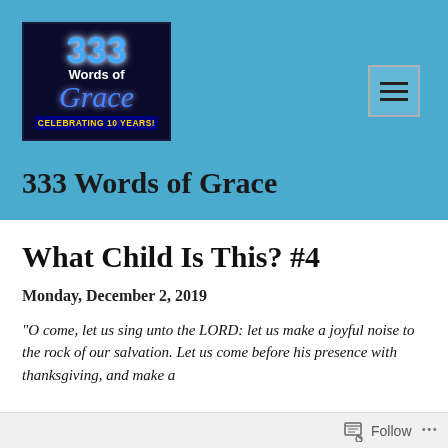[Figure (logo): 333 Words of Grace ministry logo with dark background, blue 333 text, script Grace text, and 'Celebrating 10 Years!' banner]
333 Words of Grace
What Child Is This? #4
Monday, December 2, 2019
“O come, let us sing unto the LORD: let us make a joyful noise to the rock of our salvation. Let us come before his presence with thanksgiving, and make a
Follow ...